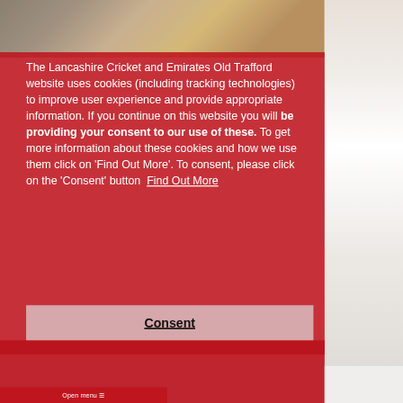[Figure (photo): Background photo of cricket fans and a cricket player, partially visible on right side. Red semi-transparent overlay covers most of the image.]
The Lancashire Cricket and Emirates Old Trafford website uses cookies (including tracking technologies) to improve user experience and provide appropriate information. If you continue on this website you will be providing your consent to our use of these. To get more information about these cookies and how we use them click on 'Find Out More'. To consent, please click on the 'Consent' button  Find Out More
Consent
Open menu ☰